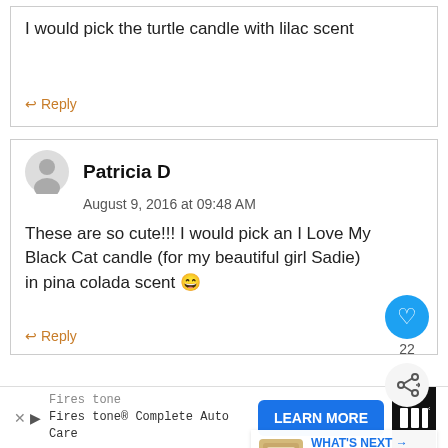I would pick the turtle candle with lilac scent
Reply
Patricia D
August 9, 2016 at 09:48 AM
These are so cute!!! I would pick an I Love My Black Cat candle (for my beautiful girl Sadie) in pina colada scent 😄
Reply